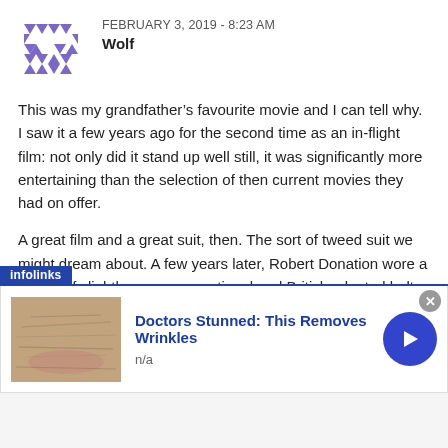FEBRUARY 3, 2019 - 8:23 AM
Wolf
This was my grandfather’s favourite movie and I can tell why. I saw it a few years ago for the second time as an in-flight film: not only did it stand up well still, it was significantly more entertaining than the selection of then current movies they had on offer.
A great film and a great suit, then. The sort of tweed suit we might dream about. A few years later, Robert Donation wore a similar, if slightly more conventional and British, pleated belt back tweed suit in The 39 Steps (another film featuring travel across country and difficult sleeping arrangements for the male and female lead) – together they must be two of the best tweed suits on film (with Ronald Coleman’s from Bulldog Drummond and Raffles making a triumvirate of classic 20/30s tweeds,
[Figure (infographic): Infolinks ad banner: 'Doctors Stunned: This Removes Wrinkles' with a close-up photo of skin/wrinkles on the left, ad title in blue bold text, 'n/a' subtext, a blue circular arrow button on the right, and a close (x) button in the top right corner.]